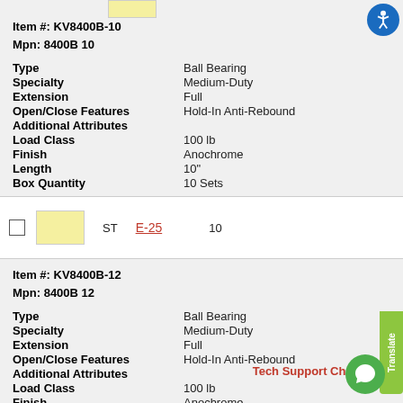Item #: KV8400B-10
Mpn: 8400B 10
Type: Ball Bearing
Specialty: Medium-Duty
Extension: Full
Open/Close Features: Hold-In Anti-Rebound
Additional Attributes
Load Class: 100 lb
Finish: Anochrome
Length: 10"
Box Quantity: 10 Sets
|  |  | ST | E-25 | 10 |
| --- | --- | --- | --- | --- |
|  |
Item #: KV8400B-12
Mpn: 8400B 12
Type: Ball Bearing
Specialty: Medium-Duty
Extension: Full
Open/Close Features: Hold-In Anti-Rebound
Additional Attributes
Load Class: 100 lb
Finish: Anochrome
Length: 12"
Box Quantity: 10 Sets